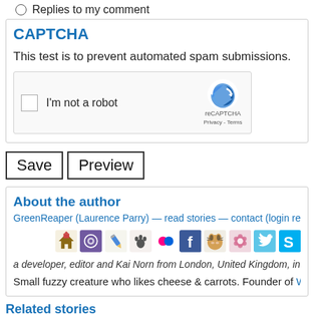Replies to my comment
CAPTCHA
This test is to prevent automated spam submissions.
[Figure (other): reCAPTCHA widget with checkbox labeled 'I'm not a robot' and reCAPTCHA logo with Privacy - Terms links]
Save   Preview
About the author
GreenReaper (Laurence Parry) — read stories — contact (login requir
[Figure (other): Row of social media and website icons: home, Fur Affinity, pencil/edit, paw print, Flickr, Facebook, tiger face, Sofurry, Twitter, Skype]
a developer, editor and Kai Norn from London, United Kingdom, inter
Small fuzzy creature who likes cheese & carrots. Founder of WikiFur,
Related stories